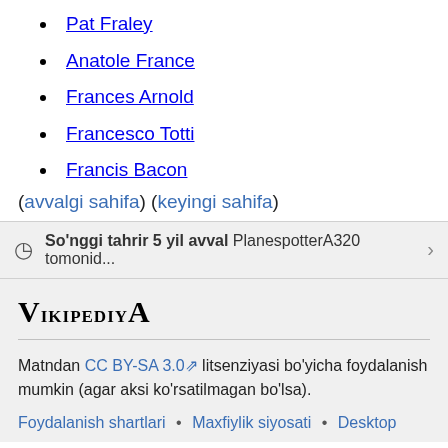Pat Fraley
Anatole France
Frances Arnold
Francesco Totti
Francis Bacon
(avvalgi sahifa) (keyingi sahifa)
So'nggi tahrir 5 yil avval PlanespotterA320 tomonid...
VikipediyA
Matndan CC BY-SA 3.0 litsenziyasi bo'yicha foydalanish mumkin (agar aksi ko'rsatilmagan bo'lsa).
Foydalanish shartlari • Maxfiylik siyosati • Desktop